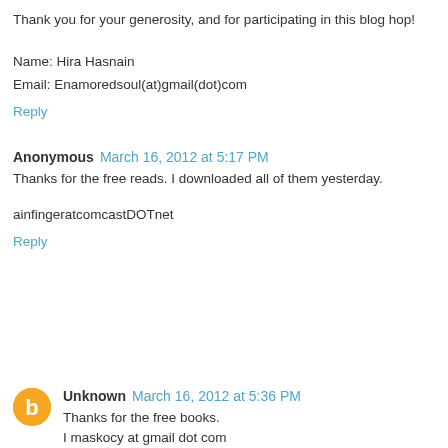Thank you for your generosity, and for participating in this blog hop!
Name: Hira Hasnain
Email: Enamoredsoul(at)gmail(dot)com
Reply
Anonymous March 16, 2012 at 5:17 PM
Thanks for the free reads. I downloaded all of them yesterday.
ainfingeratcomcastDOTnet
Reply
Unknown March 16, 2012 at 5:36 PM
Thanks for the free books.
I maskocy at gmail dot com